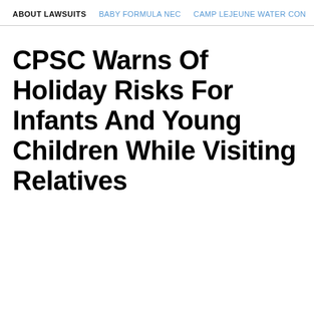ABOUT LAWSUITS   BABY FORMULA NEC   CAMP LEJEUNE WATER CON
CPSC Warns Of Holiday Risks For Infants And Young Children While Visiting Relatives
[Figure (photo): Gray placeholder image area occupying the lower half of the page]